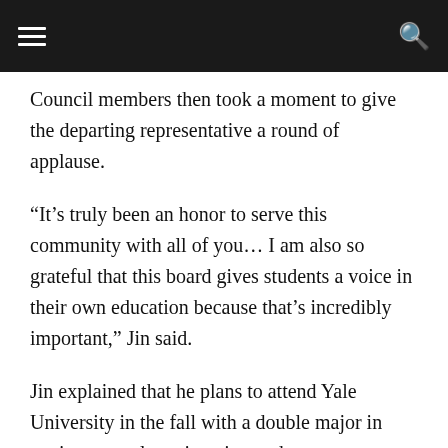[hamburger menu] [search icon]
Council members then took a moment to give the departing representative a round of applause.
“It’s truly been an honor to serve this community with all of you… I am also so grateful that this board gives students a voice in their own education because that’s incredibly important,” Jin said.
Jin explained that he plans to attend Yale University in the fall with a double major in environmental engineering and computer science and economics.
“Raymond, as I said to you earlier, go to Yale and get your degrees, then come back to Knox County,” said